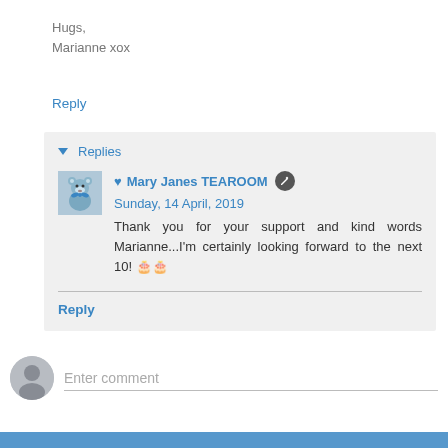Hugs,
Marianne xox
Reply
▾ Replies
♥ Mary Janes TEAROOM  Sunday, 14 April, 2019
Thank you for your support and kind words Marianne...I'm certainly looking forward to the next 10! 🎂🎂
Reply
Enter comment